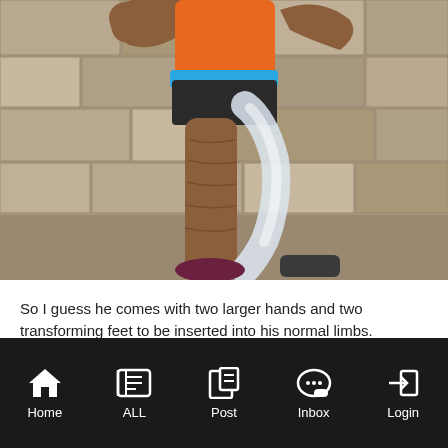[Figure (photo): Close-up photo of a superhero action figure torso and legs. The figure has a brown/dark skin tone, wearing an orange top, blue belt, and black shorts. The legs are brown and elongated. A semi-transparent white/silver limb is visible. Background is stone/brick wall.]
So I guess he comes with two larger hands and two transforming feet to be inserted into his normal limbs.
Home  ALL  Post  Inbox  Login